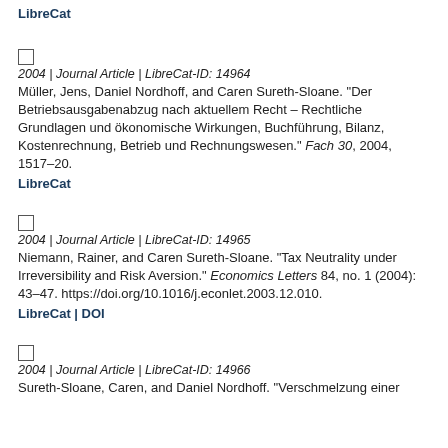LibreCat
2004 | Journal Article | LibreCat-ID: 14964
Müller, Jens, Daniel Nordhoff, and Caren Sureth-Sloane. "Der Betriebsausgabenabzug nach aktuellem Recht – Rechtliche Grundlagen und ökonomische Wirkungen, Buchführung, Bilanz, Kostenrechnung, Betrieb und Rechnungswesen." Fach 30, 2004, 1517–20.
LibreCat
2004 | Journal Article | LibreCat-ID: 14965
Niemann, Rainer, and Caren Sureth-Sloane. "Tax Neutrality under Irreversibility and Risk Aversion." Economics Letters 84, no. 1 (2004): 43–47. https://doi.org/10.1016/j.econlet.2003.12.010.
LibreCat | DOI
2004 | Journal Article | LibreCat-ID: 14966
Sureth-Sloane, Caren, and Daniel Nordhoff. "Verschmelzung einer